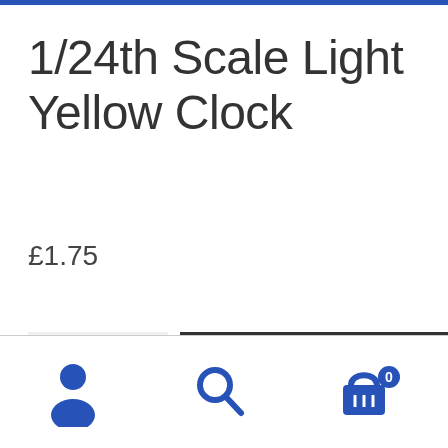1/24th Scale Light Yellow Clock
£1.75
1
Add to basket
[Figure (other): Bottom navigation bar with user account icon, search icon, and basket icon with badge showing 0]